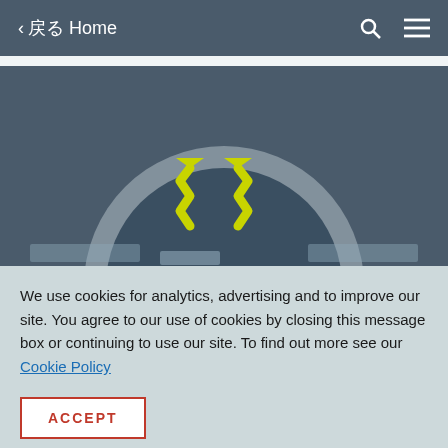< 戻る Home
[Figure (screenshot): Dark teal background with a circular emblem showing two yellow zigzag lightning bolt arrows pointing upward]
We use cookies for analytics, advertising and to improve our site. You agree to our use of cookies by closing this message box or continuing to use our site. To find out more see our Cookie Policy
ACCEPT